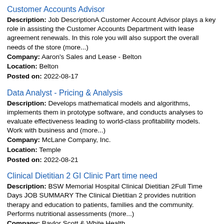Customer Accounts Advisor
Description: Job DescriptionA Customer Account Advisor plays a key role in assisting the Customer Accounts Department with lease agreement renewals. In this role you will also support the overall needs of the store (more...)
Company: Aaron's Sales and Lease - Belton
Location: Belton
Posted on: 2022-08-17
Data Analyst - Pricing & Analysis
Description: Develops mathematical models and algorithms, implements them in prototype software, and conducts analyses to evaluate effectiveness leading to world-class profitability models. Work with business and (more...)
Company: McLane Company, Inc.
Location: Temple
Posted on: 2022-08-21
Clinical Dietitian 2 GI Clinic Part time need
Description: BSW Memorial Hospital Clinical Dietitian 2Full Time Days JOB SUMMARY The Clinical Dietitian 2 provides nutrition therapy and education to patients, families and the community. Performs nutritional assessments (more...)
Company: Baylor Scott & White Health
Location: Temple
Posted on: 2022-08-22